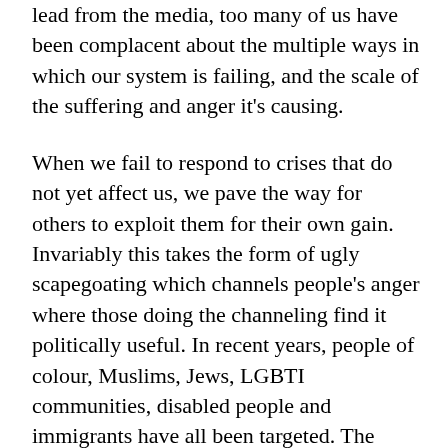lead from the media, too many of us have been complacent about the multiple ways in which our system is failing, and the scale of the suffering and anger it's causing.
When we fail to respond to crises that do not yet affect us, we pave the way for others to exploit them for their own gain. Invariably this takes the form of ugly scapegoating which channels people's anger where those doing the channeling find it politically useful. In recent years, people of colour, Muslims, Jews, LGBTI communities, disabled people and immigrants have all been targeted. The resistance to acknowledge, let alone confront, the root causes of our failing system created the conditions for Brexit, Trump, and the rise of hate politics. So yes, Brexit is a significant and unwelcome development, one that if mishandled may